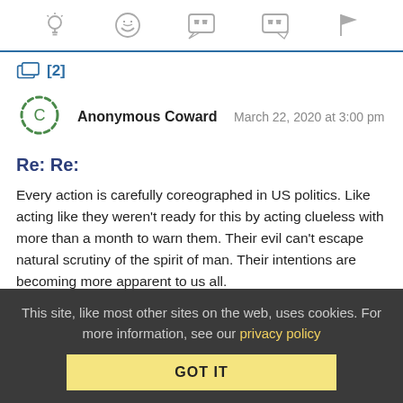[Figure (other): Top toolbar with icons: lightbulb, laughing emoji, open-quote speech bubble, close-quote speech bubble, flag]
[2]
[Figure (other): Anonymous Coward avatar - dashed circle outline in green]
Anonymous Coward    March 22, 2020 at 3:00 pm
Re: Re:
Every action is carefully coreographed in US politics. Like acting like they weren't ready for this by acting clueless with more than a month to warn them. Their evil can't escape natural scrutiny of the spirit of man. Their intentions are becoming more apparent to us all.
This site, like most other sites on the web, uses cookies. For more information, see our privacy policy
GOT IT